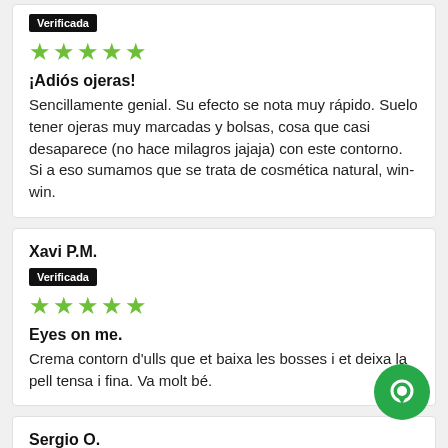Verificada (badge, top card)
★★★★★ (5 stars, top card)
¡Adiós ojeras! Sencillamente genial. Su efecto se nota muy rápido. Suelo tener ojeras muy marcadas y bolsas, cosa que casi desaparece (no hace milagros jajaja) con este contorno. Si a eso sumamos que se trata de cosmética natural, win-win.
Xavi P.M.
Verificada (badge, middle card)
★★★★★ (5 stars, middle card)
Eyes on me. Crema contorn d'ulls que et baixa les bosses i et deixa la pell tensa i fina. Va molt bé.
Sergio O.
Verificada (badge, bottom card)